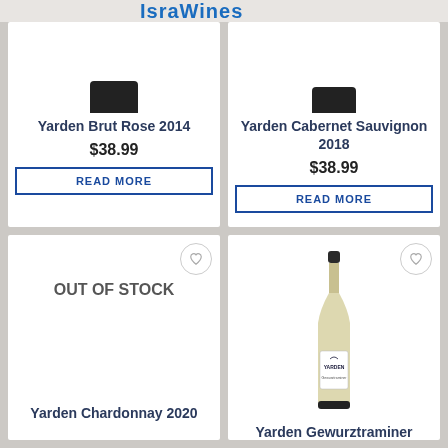IsraWines
[Figure (other): Product card showing wine bottle cap top of Yarden Brut Rose 2014]
Yarden Brut Rose 2014
$38.99
READ MORE
[Figure (other): Product card showing wine bottle cap top of Yarden Cabernet Sauvignon 2018]
Yarden Cabernet Sauvignon 2018
$38.99
READ MORE
[Figure (other): Product card for Yarden Chardonnay 2020 showing OUT OF STOCK]
OUT OF STOCK
Yarden Chardonnay 2020
[Figure (other): Product card showing white wine bottle for Yarden Gewurztraminer with label]
Yarden Gewurztraminer